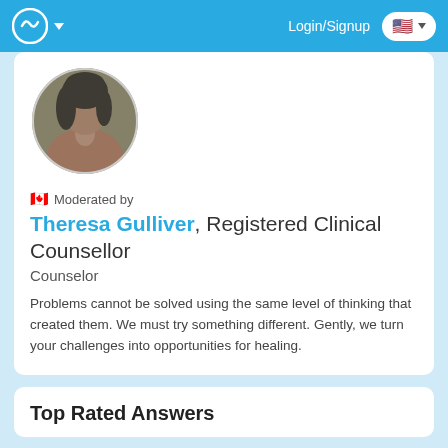Login/Signup
[Figure (photo): Profile photo of Theresa Gulliver, a woman with dark hair, circular crop]
Moderated by
Theresa Gulliver, Registered Clinical Counsellor
Counselor
Problems cannot be solved using the same level of thinking that created them. We must try something different. Gently, we turn your challenges into opportunities for healing.
Top Rated Answers